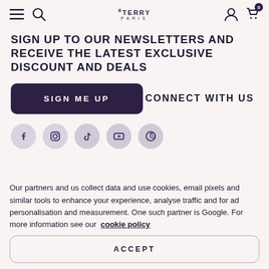BY TERRY PARIS — navigation bar with menu, search, account, cart (0)
SIGN UP TO OUR NEWSLETTERS AND RECEIVE THE LATEST EXCLUSIVE DISCOUNT AND DEALS
SIGN ME UP
CONNECT WITH US
[Figure (illustration): Five social media icons (Facebook, Instagram, TikTok, YouTube, Pinterest) as circular grey buttons]
Our partners and us collect data and use cookies, email pixels and similar tools to enhance your experience, analyse traffic and for ad personalisation and measurement. One such partner is Google. For more information see our cookie policy
ACCEPT